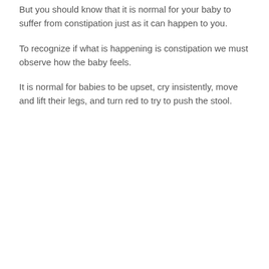But you should know that it is normal for your baby to suffer from constipation just as it can happen to you.
To recognize if what is happening is constipation we must observe how the baby feels.
It is normal for babies to be upset, cry insistently, move and lift their legs, and turn red to try to push the stool.